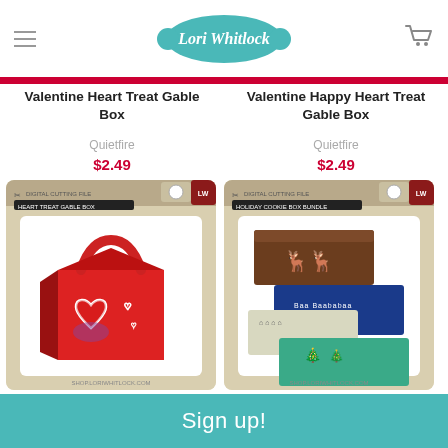Lori Whitlock (logo/header)
Valentine Heart Treat Gable Box
Quietfire
$2.49
Valentine Happy Heart Treat Gable Box
Quietfire
$2.49
[Figure (photo): Red heart treat gable box product image with heart cutouts]
[Figure (photo): Holiday cookie box bundle showing multiple decorated rectangular boxes]
Sign up!